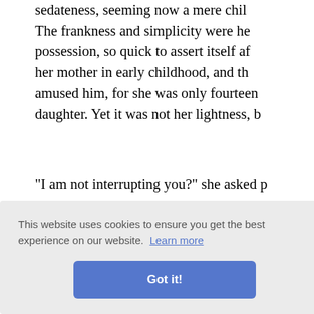sedateness, seeming now a mere child. The frankness and simplicity were her possession, so quick to assert itself after her mother in early childhood, and the amused him, for she was only fourteen; daughter. Yet it was not her lightness, bu
"I am not interrupting you?" she asked p
"Not in the least," said Richard. "I am w until then."
"Papa says you are very clever," rema him. "Are you?"
laughing
ve him th gh. Tell t
"I do not of the of an fellow b
This website uses cookies to ensure you get the best experience on our website. Learn more
Got it!